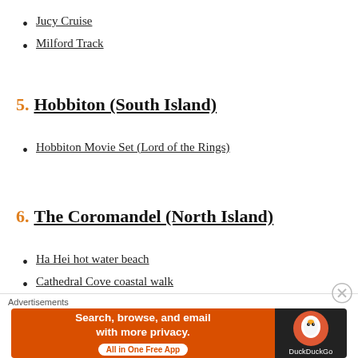Jucy Cruise
Milford Track
5. Hobbiton (South Island)
Hobbiton Movie Set (Lord of the Rings)
6. The Coromandel (North Island)
Ha Hei hot water beach
Cathedral Cove coastal walk
[Figure (infographic): DuckDuckGo advertisement banner: orange background with text 'Search, browse, and email with more privacy. All in One Free App' and DuckDuckGo logo on dark background]